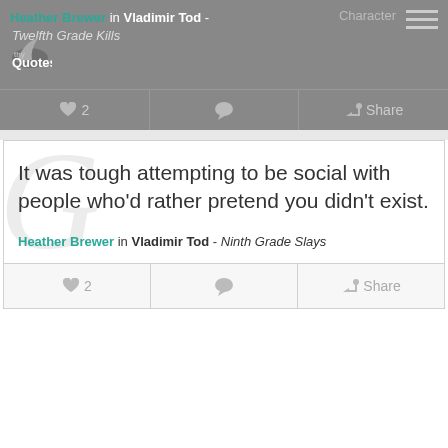Heather Brewer in Vladimir Tod - Twelfth Grade Kills
[Figure (logo): thyQuotes logo with stylized feather/bird icon and text 'thy Quotes']
It was tough attempting to be social with people who'd rather pretend you didn't exist.
Heather Brewer in Vladimir Tod - Ninth Grade Slays
♥ 2  Share
♥ 2  Share